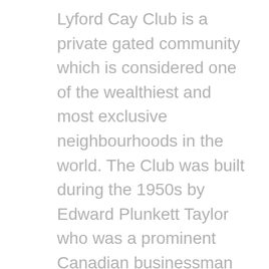Lyford Cay Club is a private gated community which is considered one of the wealthiest and most exclusive neighbourhoods in the world. The Club was built during the 1950s by Edward Plunkett Taylor who was a prominent Canadian businessman and thoroughbred breeder. His stables gave birth to Northern Dancer, the greatest sire of the 20th century. In addition to 16 Queen's Plate races, in 1964, Northern Dancer won both the Kentucky Derby and the Preakness Stakes.
At the age of 23, Wilfred was promoted to a waiter by the club manager who said "you can do...